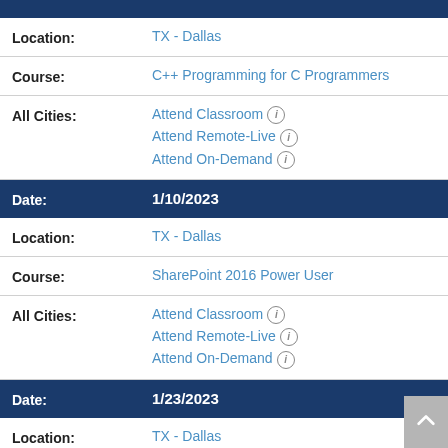Location: TX - Dallas
Course: C++ Programming for C Programmers
All Cities: Attend Classroom, Attend Remote-Live, Attend On-Demand
Date: 1/10/2023
Location: TX - Dallas
Course: SharePoint 2016 Power User
All Cities: Attend Classroom, Attend Remote-Live, Attend On-Demand
Date: 1/23/2023
Location: TX - Dallas
Course: (partially visible)